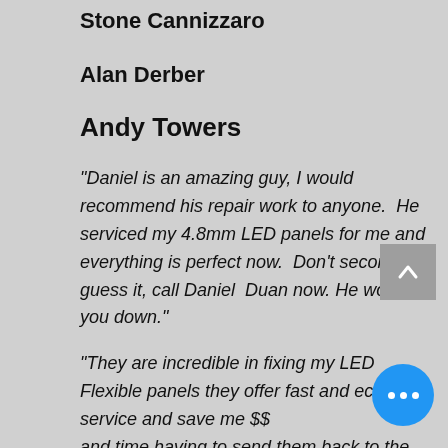Stone Cannizzaro
Alan Derber
Andy Towers
"Daniel is an amazing guy, I would recommend his repair work to anyone.  He serviced my 4.8mm LED panels for me and everything is perfect now.  Don't second guess it, call Daniel  Duan now. He won't let you down."
"They are incredible in fixing my LED Flexible panels they offer fast and economic service and save me $$ and time having to send them back to the